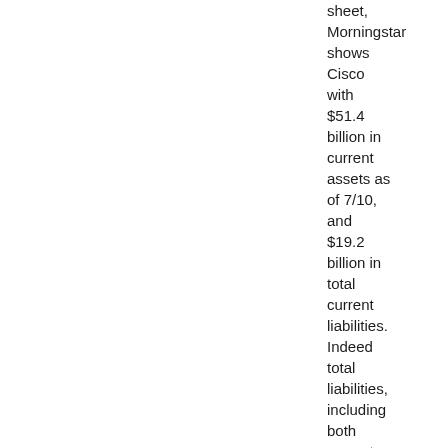sheet, Morningstar shows Cisco with $51.4 billion in current assets as of 7/10, and $19.2 billion in total current liabilities. Indeed total liabilities, including both current and long-term liabilities, totaled $36.8 billion